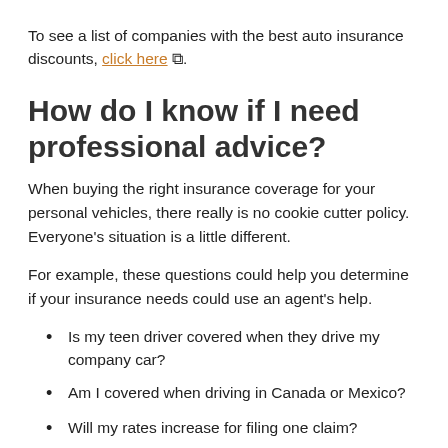To see a list of companies with the best auto insurance discounts, click here.
How do I know if I need professional advice?
When buying the right insurance coverage for your personal vehicles, there really is no cookie cutter policy. Everyone's situation is a little different.
For example, these questions could help you determine if your insurance needs could use an agent's help.
Is my teen driver covered when they drive my company car?
Am I covered when driving in Canada or Mexico?
Will my rates increase for filing one claim?
Why does it cost so much to insure a teen driver?
Is my nanny covered when driving my vehicle?
Am I covered by my employer's commercial auto policy